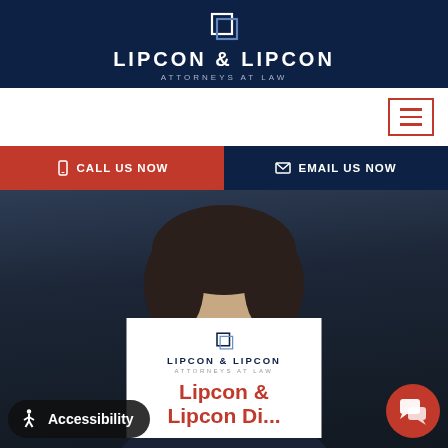LIPCON & LIPCON ATTORNEYS AT LAW
[Figure (logo): Lipcon & Lipcon Attorneys at Law logo with stylized L icon in white on dark navy background]
CALL US NOW
EMAIL US NOW
[Figure (photo): Professional headshot of a male attorney in a dark suit, smiling, against a dark background. An overlay card shows the Lipcon & Lipcon logo and the beginning of the attorney name 'Lipcon & Lipcon Di...']
Accessibility
Lipcon & Lipcon Di...